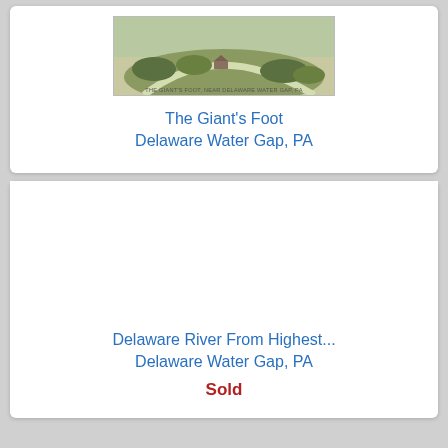[Figure (photo): Aerial postcard image of The Giant's Foot, Delaware Water Gap, PA]
The Giant's Foot
Delaware Water Gap, PA
[Figure (photo): Blank/missing image area for Delaware River From Highest... Delaware Water Gap, PA listing]
Delaware River From Highest...
Delaware Water Gap, PA
Sold